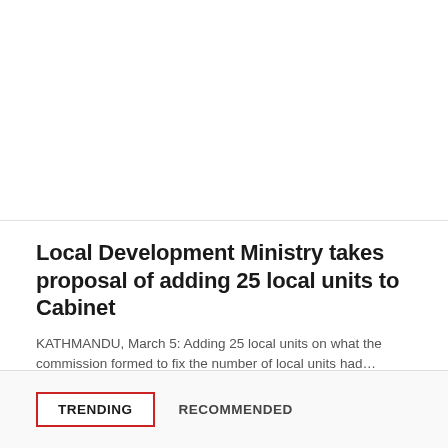Local Development Ministry takes proposal of adding 25 local units to Cabinet
KATHMANDU, March 5: Adding 25 local units on what the commission formed to fix the number of local units had… Read More...